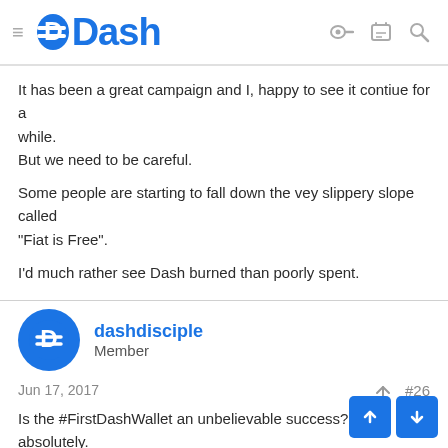Dash
It has been a great campaign and I, happy to see it contiue for a while.
But we need to be careful.

Some people are starting to fall down the vey slippery slope called "Fiat is Free".

I'd much rather see Dash burned than poorly spent.
dashdisciple
Member
Jun 17, 2017   #26
Is the #FirstDashWallet an unbelievable success? Yes, absolutely. It's incredible. People from all over crypto are taking notice. By now, it has the potential to hop into the mainstream media sphere.